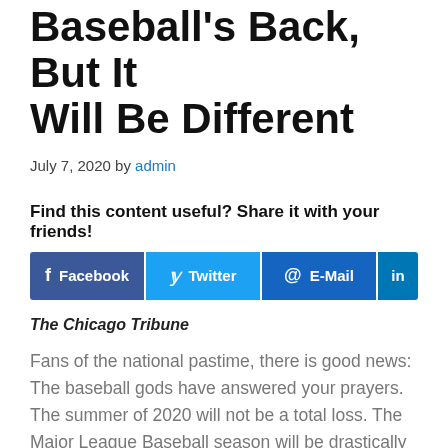Baseball's Back, But It Will Be Different
July 7, 2020 by admin
Find this content useful? Share it with your friends!
[Figure (infographic): Social sharing buttons: Facebook, Twitter, E-Mail, LinkedIn]
The Chicago Tribune
Fans of the national pastime, there is good news: The baseball gods have answered your prayers. The summer of 2020 will not be a total loss. The Major League Baseball season will be drastically abbreviated, short on spectators and different in ways that may cause purists to pound the ground with a Louisville Slugger. But finally,